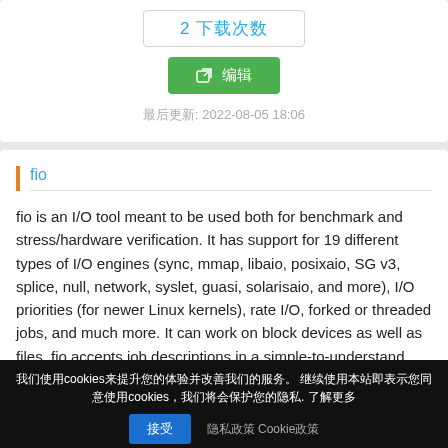2 下载次数
✏ 编辑
最后更新: 2022-08-05 18:06
fio
fio is an I/O tool meant to be used both for benchmark and stress/hardware verification. It has support for 19 different types of I/O engines (sync, mmap, libaio, posixaio, SG v3, splice, null, network, syslet, guasi, solarisaio, and more), I/O priorities (for newer Linux kernels), rate I/O, forked or threaded jobs, and much more. It can work on block devices as well as files. fio accepts job descriptions in a simple-to-understand text
我们使用cookies来提升您的体验并改善我们的服务。 继续使用本站即表示您同意使用cookies，我们将会保护您的隐私. 了解更多
接受
隐私政策 Cookie政策
Linux, FreeBSD, NetBSD, OpenBSD, OS X, OpenSolaris, AIX,